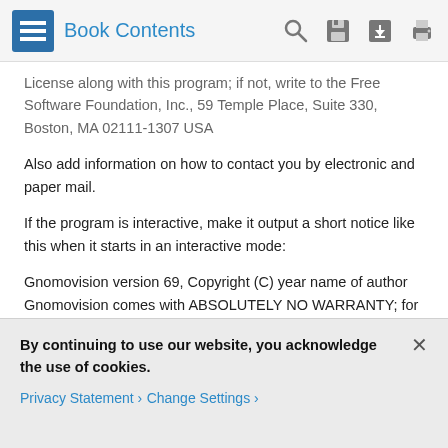Book Contents
License along with this program; if not, write to the Free Software Foundation, Inc., 59 Temple Place, Suite 330, Boston, MA 02111-1307 USA
Also add information on how to contact you by electronic and paper mail.
If the program is interactive, make it output a short notice like this when it starts in an interactive mode:
Gnomovision version 69, Copyright (C) year name of author Gnomovision comes with ABSOLUTELY NO WARRANTY; for details type `show w'. This is free software, and you are welcome to redistribute it under certain conditions; type `show c' for details.
The hypothetical commands `show w' and `show c' should
By continuing to use our website, you acknowledge the use of cookies.
Privacy Statement  Change Settings